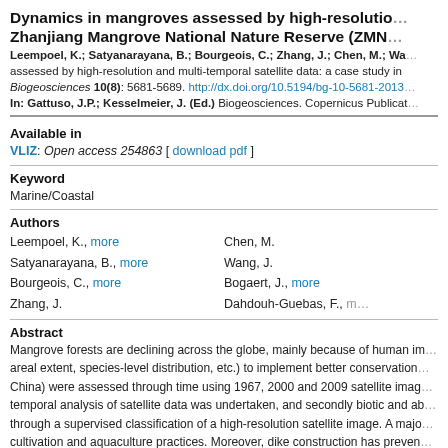Dynamics in mangroves assessed by high-resolution Zhanjiang Mangrove National Nature Reserve (ZMNNR)
Leempoel, K.; Satyanarayana, B.; Bourgeois, C.; Zhang, J.; Chen, M.; Wang, J.; Bogaert, J.; Dahdouh-Guebas, F. assessed by high-resolution and multi-temporal satellite data: a case study in Biogeosciences 10(8): 5681-5689. http://dx.doi.org/10.5194/bg-10-5681-2013
In: Gattuso, J.P.; Kesselmeier, J. (Ed.) Biogeosciences. Copernicus Publications:
Available in
VLIZ: Open access 254863 [ download pdf ]
Keyword
Marine/Coastal
Authors
Leempoel, K., more | Chen, M.
Satyanarayana, B., more | Wang, J.
Bourgeois, C., more | Bogaert, J., more
Zhang, J. | Dahdouh-Guebas, F., more
Abstract
Mangrove forests are declining across the globe, mainly because of human impact. Better knowledge of key parameters (areal extent, species-level distribution, etc.) to implement better conservation strategies in mangroves of Zhanjiang (China) were assessed through time using 1967, 2000 and 2009 satellite images. Firstly, an object-based multi-temporal analysis of satellite data was undertaken, and secondly biotic and abiotic characteristics were assessed in-situ through a supervised classification of a high-resolution satellite image. A major driver of change was identified: shrimp cultivation and aquaculture practices. Moreover, dike construction has prevented further expansion. A significant increase was observed between 2000 and 2009 (+24%), the ratio mangrove / aquaculture